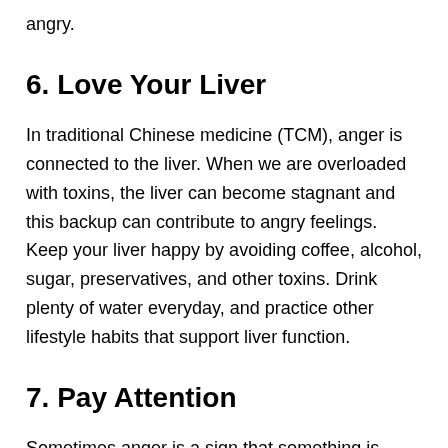angry.
6. Love Your Liver
In traditional Chinese medicine (TCM), anger is connected to the liver. When we are overloaded with toxins, the liver can become stagnant and this backup can contribute to angry feelings. Keep your liver happy by avoiding coffee, alcohol, sugar, preservatives, and other toxins. Drink plenty of water everyday, and practice other lifestyle habits that support liver function.
7. Pay Attention
Sometimes anger is a sign that something is actually wrong in the present. Instead of fighting it or immediately acting on it, listen to your anger. What is it trying to tell you? Are you being mistreated in some way? Is the anger hiding something, like